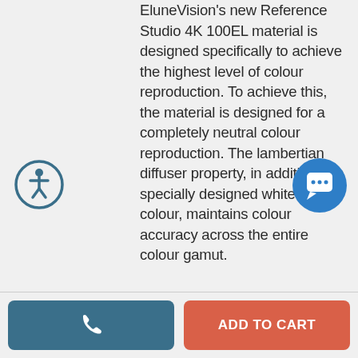EluneVision's new Reference Studio 4K 100EL material is designed specifically to achieve the highest level of colour reproduction. To achieve this, the material is designed for a completely neutral colour reproduction. The lambertian diffuser property, in addition to a specially designed white base colour, maintains colour accuracy across the entire colour gamut.
[Figure (illustration): Circular accessibility icon with person/wheelchair symbol, teal/dark blue border outline style]
[Figure (illustration): Circular blue chat/speech bubble icon button]
[Figure (illustration): Phone call button (teal/dark blue rectangle with phone handset icon)]
ADD TO CART